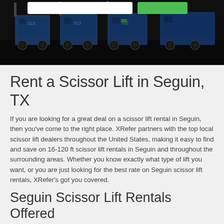[Figure (photo): Dark hero image showing blue scissor lift machinery/equipment in an outdoor yard, with a search bar and green button overlay at the top]
Rent a Scissor Lift in Seguin, TX
If you are looking for a great deal on a scissor lift rental in Seguin, then you've come to the right place. XRefer partners with the top local scissor lift dealers throughout the United States, making it easy to find and save on 16-120 ft scissor lift rentals in Seguin and throughout the surrounding areas. Whether you know exactly what type of lift you want, or you are just looking for the best rate on Seguin scissor lift rentals, XRefer's got you covered.
Seguin Scissor Lift Rentals Offered
Here at XRefer we know that our customers need different types and sized scissor lifts for their jobs in and around Seguin, which is why we've got an unparalleled selection of Seguin